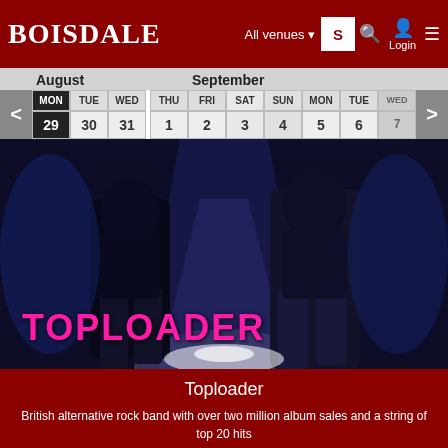BOISDALE — All venues — Login
| MON | TUE | WED |  | THU | FRI | SAT | SUN | MON | TUE |
| --- | --- | --- | --- | --- | --- | --- | --- | --- | --- |
| 29 | 30 | 31 |  | 1 | 2 | 3 | 4 | 5 | 6 |
[Figure (photo): Two musicians standing in dramatic blue spotlight lighting, with TOPLOADER text in pink/magenta at bottom left]
Toploader
British alternative rock band with over two million album sales and a string of top 20 hits